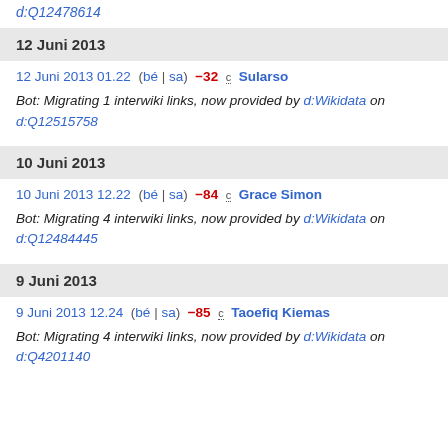d:Q12478614
12 Juni 2013
12 Juni 2013 01.22  (bé | sa)  −32  c  Sularso
Bot: Migrating 1 interwiki links, now provided by d:Wikidata on d:Q12515758
10 Juni 2013
10 Juni 2013 12.22  (bé | sa)  −84  c  Grace Simon
Bot: Migrating 4 interwiki links, now provided by d:Wikidata on d:Q12484445
9 Juni 2013
9 Juni 2013 12.24  (bé | sa)  −85  c  Taoefiq Kiemas
Bot: Migrating 4 interwiki links, now provided by d:Wikidata on d:Q4201140